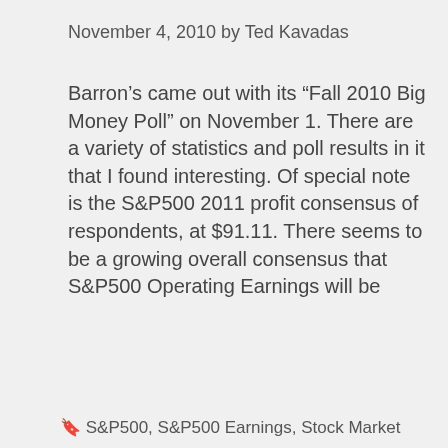November 4, 2010 by Ted Kavadas
Barron’s came out with its “Fall 2010 Big Money Poll” on November 1. There are a variety of statistics and poll results in it that I found interesting. Of special note is the S&P500 2011 profit consensus of respondents, at $91.11. There seems to be a growing overall consensus that S&P500 Operating Earnings will be
Similar to other sites, this site uses various cookies. By using this site you agree to the use of these cookies as well as the site’s Terms Of Use and Privacy Policy. The following notice provides more information on various cookies utilized and how to delete or block them. Cookie Policy
Close and accept
🟷 Investor, Stock Market
🟷 S&P500, S&P500 Earnings, Stock Market